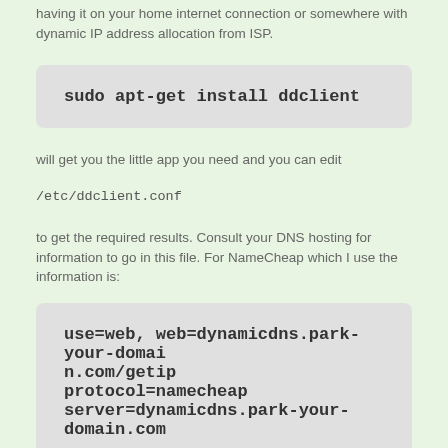having it on your home internet connection or somewhere with dynamic IP address allocation from ISP.
will get you the little app you need and you can edit
/etc/ddclient.conf
to get the required results. Consult your DNS hosting for information to go in this file. For NameCheap which I use the information is: